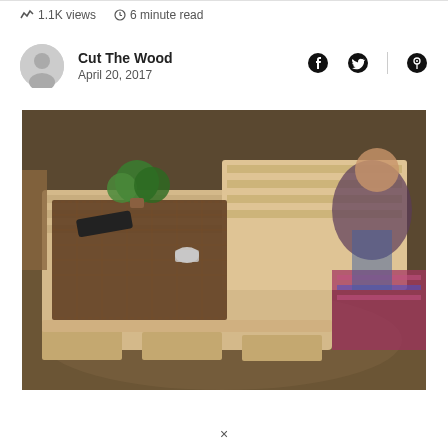1.1K views   6 minute read
Cut The Wood
April 20, 2017
[Figure (photo): A DIY pallet wood coffee table with a lift-top section. The table features a woven mat/tray surface, a plant, a remote control, and other small items. A child is partially visible in the background on a colorful rug.]
×